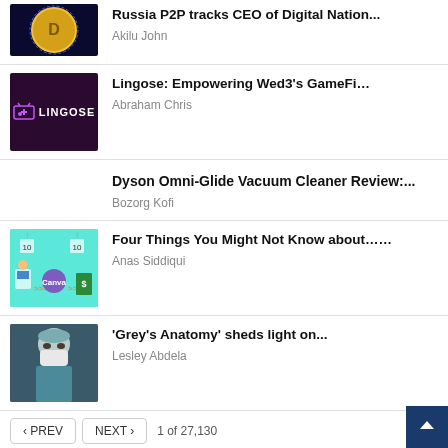Russia P2P tracks CEO of Digital Nation... — Akilu John
Lingose: Empowering Wed3's GameFi... — Abraham Chris
Dyson Omni-Glide Vacuum Cleaner Review:... — Bozorg Kofi
Four Things You Might Not Know about...… — Anas Siddiqui
'Grey's Anatomy' sheds light on... — Lesley Abdela
‹ PREV   NEXT ›   1 of 27,130